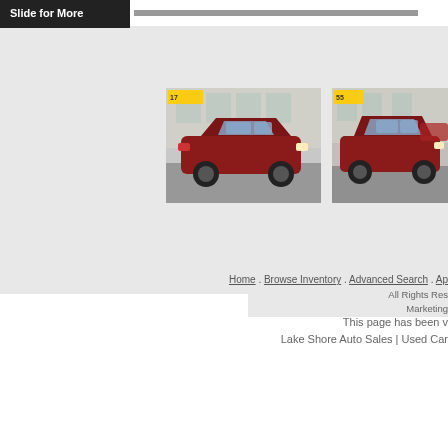[Figure (screenshot): Slider bar with dark button labeled Slide for More and a gray progress track]
[Figure (photo): Red Nissan Rogue SUV parked in front of a dealership]
[Figure (photo): Red Chrysler Pacifica minivan parked at dealership]
Home . Browse Inventory . Advanced Search . Ap
All Rights Res Marketing
This page has been v
Lake Shore Auto Sales | Used Car